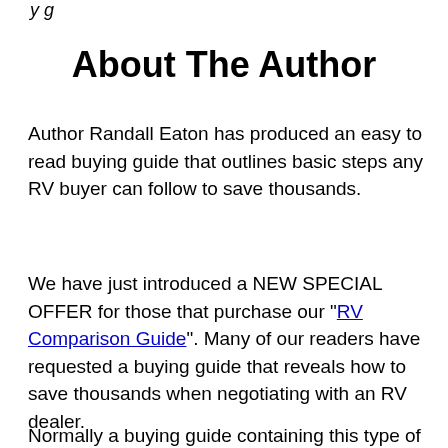y g
About The Author
Author Randall Eaton has produced an easy to read buying guide that outlines basic steps any RV buyer can follow to save thousands.
We have just introduced a NEW SPECIAL OFFER for those that purchase our "RV Comparison Guide". Many of our readers have requested a buying guide that reveals how to save thousands when negotiating with an RV dealer.
Normally a buying guide containing this type of